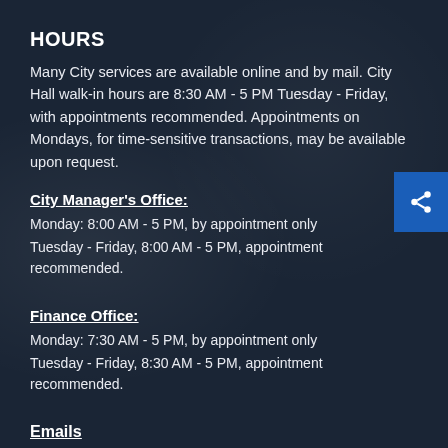HOURS
Many City services are available online and by mail. City Hall walk-in hours are 8:30 AM - 5 PM Tuesday - Friday, with appointments recommended. Appointments on Mondays, for time-sensitive transactions, may be available upon request.
City Manager's Office:
Monday: 8:00 AM - 5 PM, by appointment only
Tuesday - Friday, 8:00 AM - 5 PM, appointment recommended.
Finance Office:
Monday: 7:30 AM - 5 PM, by appointment only
Tuesday - Friday, 8:30 AM - 5 PM, appointment recommended.
Emails
City Hall: 847.432.0800
Police Non-Emergency: 847.432.7730